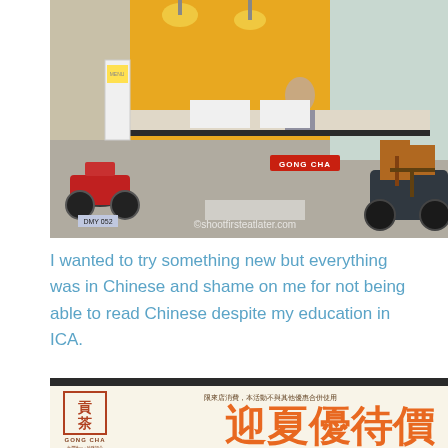[Figure (photo): Interior photo of a Gong Cha bubble tea store showing motorcycles parked outside, a counter area with yellow walls, seating, pendant lights, and a red Gong Cha sign. Watermark reads ©shootfirsteatlater.com]
I wanted to try something new but everything was in Chinese and shame on me for not being able to read Chinese despite my education in ICA.
[Figure (photo): Gong Cha promotional banner in Chinese showing the Gong Cha logo and large Chinese characters reading 迎夏優待價 with smaller text 限來店消費，本活動不與其他優惠合併使用]